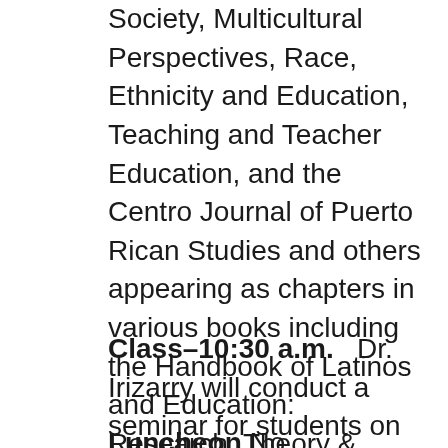Society, Multicultural Perspectives, Race, Ethnicity and Education, Teaching and Teacher Education, and the Centro Journal of Puerto Rican Studies and others appearing as chapters in various books including the Handbook of Latinos and Education: Research, Theory & Practice (Murillo, 2010) and Culture, Curriculum, and Identity in Education: Progressive Perspectives on Research, Theory, and Practice. (Milner, 2009).
Class–10:30 a.m.   Dr. Irizarry will conduct a seminar for students on his work.  Open to the first 20 respondents.  To register, email stuact@wesleyan.edu
Luncheon No registration for